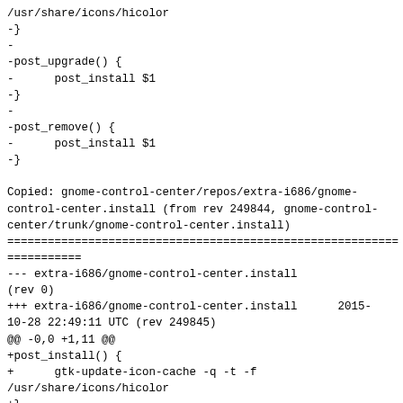/usr/share/icons/hicolor
-}
-
-post_upgrade() {
-      post_install $1
-}
-
-post_remove() {
-      post_install $1
-}

Copied: gnome-control-center/repos/extra-i686/gnome-control-center.install (from rev 249844, gnome-control-center/trunk/gnome-control-center.install)
=====================================================================
--- extra-i686/gnome-control-center.install	(rev 0)
+++ extra-i686/gnome-control-center.install	2015-10-28 22:49:11 UTC (rev 249845)
@@ -0,0 +1,11 @@
+post_install() {
+	gtk-update-icon-cache -q -t -f /usr/share/icons/hicolor
+}
+
+post_upgrade() {
+	post_install $1
+}
+
+post_remove() {